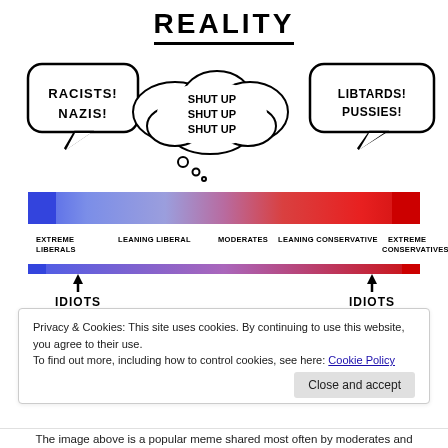REALITY
[Figure (infographic): Political spectrum bar from blue (Extreme Liberals) to red (Extreme Conservatives) with speech/thought bubbles. Left bubble: 'RACISTS! NAZIS!', Center thought bubble: 'SHUT UP SHUT UP SHUT UP', Right bubble: 'LIBTARDS! PUSSIES!'. Below spectrum: 'EXTREME LIBERALS', 'LEANING LIBERAL', 'MODERATES', 'LEANING CONSERVATIVE', 'EXTREME CONSERVATIVES'. A second thinner spectrum bar below, with arrows and 'IDIOTS' labels on both ends.]
Privacy & Cookies: This site uses cookies. By continuing to use this website, you agree to their use.
To find out more, including how to control cookies, see here: Cookie Policy
Close and accept
The image above is a popular meme shared most often by moderates and